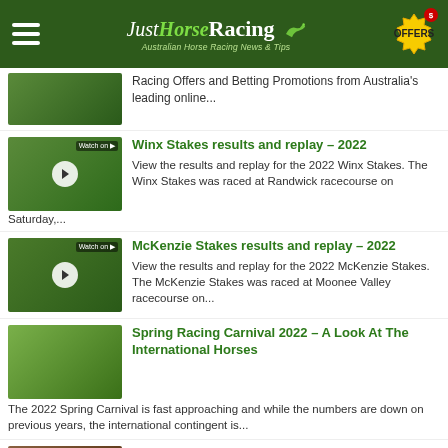JustHorseRacing – Australian Horse Racing News & Tips
Racing Offers and Betting Promotions from Australia's leading online...
Winx Stakes results and replay – 2022
View the results and replay for the 2022 Winx Stakes. The Winx Stakes was raced at Randwick racecourse on Saturday,...
McKenzie Stakes results and replay – 2022
View the results and replay for the 2022 McKenzie Stakes. The McKenzie Stakes was raced at Moonee Valley racecourse on...
Spring Racing Carnival 2022 – A Look At The International Horses
The 2022 Spring Carnival is fast approaching and while the numbers are down on previous years, the international contingent is...
Alligator Blood banned from racing in Victoria
Stradbroke Handicap winner Alligator Blood will not be permitted to race in Melbourne during the Spring